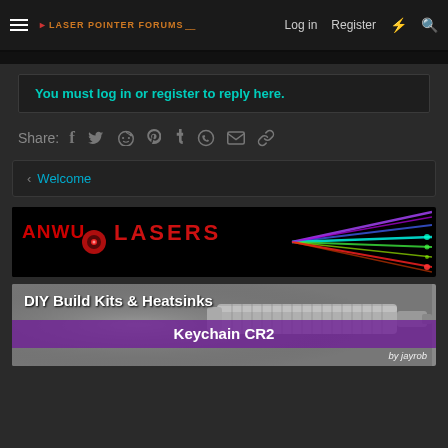Laser Pointer Forums — Log in  Register
You must log in or register to reply here.
Share:
< Welcome
[Figure (photo): ANWU Lasers advertisement banner with colorful laser beams on black background]
[Figure (photo): DIY Build Kits & Heatsinks Keychain CR2 advertisement by jayrob, showing a metal laser pointer]